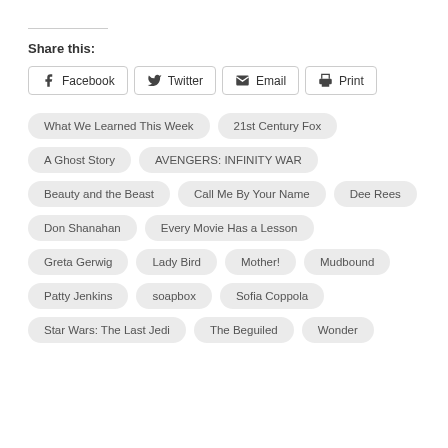Share this:
Facebook
Twitter
Email
Print
What We Learned This Week
21st Century Fox
A Ghost Story
AVENGERS: INFINITY WAR
Beauty and the Beast
Call Me By Your Name
Dee Rees
Don Shanahan
Every Movie Has a Lesson
Greta Gerwig
Lady Bird
Mother!
Mudbound
Patty Jenkins
soapbox
Sofia Coppola
Star Wars: The Last Jedi
The Beguiled
Wonder